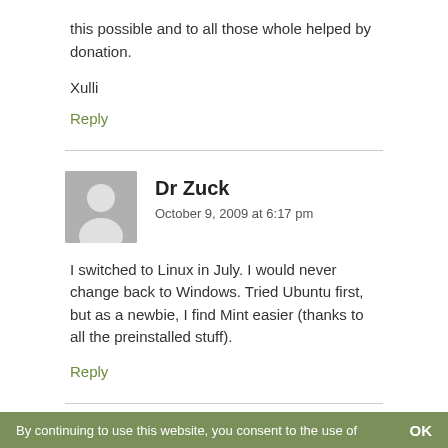this possible and to all those whole helped by donation.
Xulli
Reply
Dr Zuck
October 9, 2009 at 6:17 pm
I switched to Linux in July. I would never change back to Windows. Tried Ubuntu first, but as a newbie, I find Mint easier (thanks to all the preinstalled stuff).
Reply
By continuing to use this website, you consent to the use of   OK